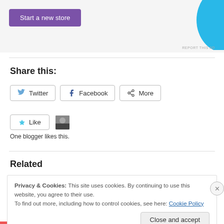[Figure (screenshot): Ad banner with purple 'Start a new store' button and cyan graphic shape. 'REPORT THIS AD' label at bottom right.]
Share this:
Twitter  Facebook  More (share buttons)
★ Like   One blogger likes this.
Related
Privacy & Cookies: This site uses cookies. By continuing to use this website, you agree to their use.
To find out more, including how to control cookies, see here: Cookie Policy
Close and accept